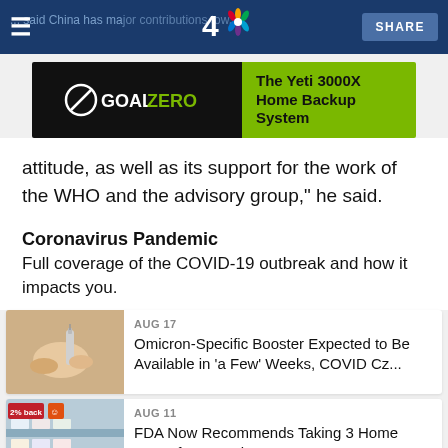NBC 4 — SHARE
[Figure (screenshot): GoalZero advertisement banner: The Yeti 3000X Home Backup System]
attitude, as well as its support for the work of the WHO and the advisory group," he said.
Coronavirus Pandemic
Full coverage of the COVID-19 outbreak and how it impacts you.
[Figure (photo): Photo of person receiving vaccine injection]
AUG 17
Omicron-Specific Booster Expected to Be Available in 'a Few' Weeks, COVID Cz...
[Figure (photo): Photo of store shelves with COVID test products, showing 2% back label]
AUG 11
FDA Now Recommends Taking 3 Home Tests If Exposed to COVID to Boost Test...